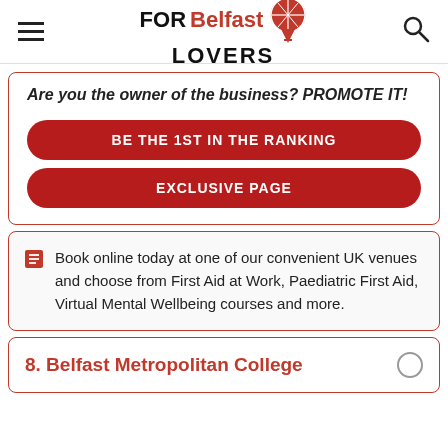FOR Belfast LOVERS [logo with map pin icon]
Are you the owner of the business? PROMOTE IT!
BE THE 1ST IN THE RANKING
EXCLUSIVE PAGE
Book online today at one of our convenient UK venues and choose from First Aid at Work, Paediatric First Aid, Virtual Mental Wellbeing courses and more.
8. Belfast Metropolitan College